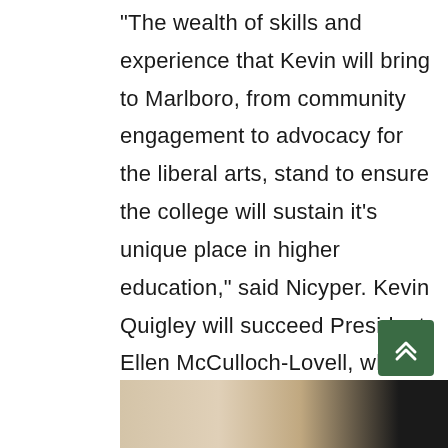“The wealth of skills and experience that Kevin will bring to Marlboro, from community engagement to advocacy for the liberal arts, stand to ensure the college will sustain it’s unique place in higher education,” said Nicyper. Kevin Quigley will succeed President Ellen McCulloch-Lovell, who has been a vocal champion of the liberal arts during her 11-year tenure.
[Figure (photo): Partial photograph visible at bottom of page showing interior room scene]